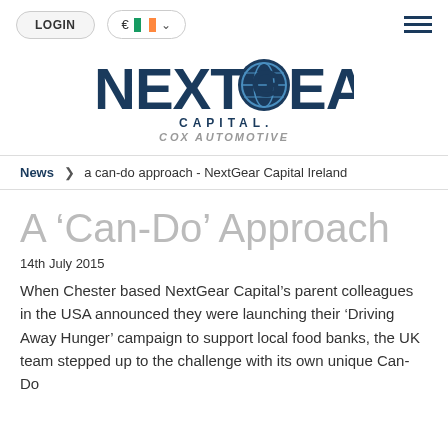LOGIN  € 🇮🇪 ▾  ☰
[Figure (logo): NextGear Capital Cox Automotive logo — large bold dark blue NEXTGEAR text with globe icon replacing the O, CAPITAL. in spaced capitals below, COX AUTOMOTIVE in grey italic spaced text]
News > a can-do approach - NextGear Capital Ireland
A 'Can-Do' Approach
14th July 2015
When Chester based NextGear Capital's parent colleagues in the USA announced they were launching their 'Driving Away Hunger' campaign to support local food banks, the UK team stepped up to the challenge with its own unique Can-Do